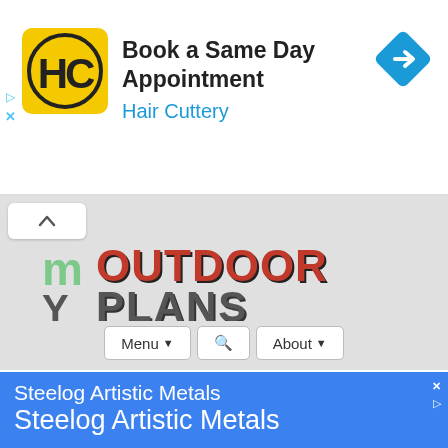[Figure (screenshot): Hair Cuttery advertisement banner with yellow HC logo, text 'Book a Same Day Appointment', 'Hair Cuttery', and a blue navigation diamond icon]
[Figure (screenshot): My Outdoor Plans website header with logo showing 'MY OUTDOOR PLANS' in stylized red and black text on gray background, with Menu, search, and About navigation buttons]
Outdoor Pizza Oven Plans
• By Ovidiu
[Figure (screenshot): Blue advertisement banner for 'Steelog Artistic Metals' showing the name twice in white text on blue background]